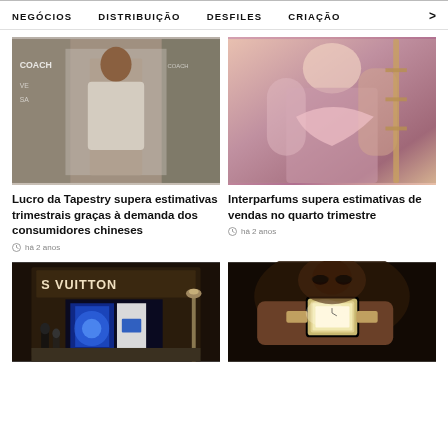NEGÓCIOS   DISTRIBUIÇÃO   DESFILES   CRIAÇÃO   >
[Figure (photo): Man in beige sweater standing in front of Coach store]
Lucro da Tapestry supera estimativas trimestrais graças à demanda dos consumidores chineses
há 2 anos
[Figure (photo): Woman in floral outfit with pink scarf]
Interparfums supera estimativas de vendas no quarto trimestre
há 2 anos
[Figure (photo): Louis Vuitton store front with blue light display]
[Figure (photo): Close-up of woman wearing a luxury watch]